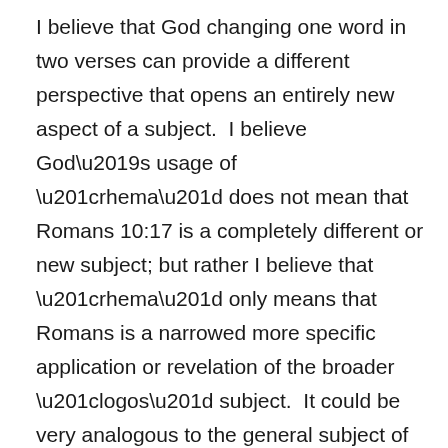I believe that God changing one word in two verses can provide a different perspective that opens an entirely new aspect of a subject.  I believe God’s usage of “rhema” does not mean that Romans 10:17 is a completely different or new subject; but rather I believe that “rhema” only means that Romans is a narrowed more specific application or revelation of the broader “logos” subject.  It could be very analogous to the general subject of screws.  There are a wide variety of “screws” manufactured and sold in a hardware store.  If I asked you to go to the store and buy us some screws to fix a project that we were working on, you would probably get us the wrong kind simply because I was not very specific in the type of screw to buy.  I should be much more specific and say please go to the store and get us some inch and quarter stainless steel flat Phillip head wood screws.  Now you know exactly